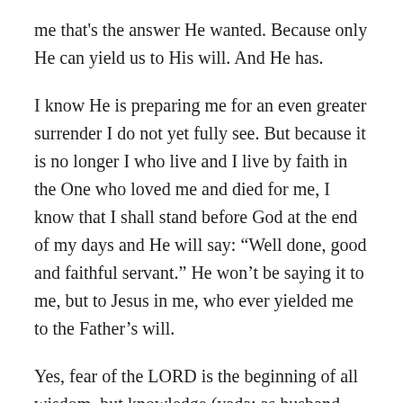me that's the answer He wanted. Because only He can yield us to His will. And He has.
I know He is preparing me for an even greater surrender I do not yet fully see. But because it is no longer I who live and I live by faith in the One who loved me and died for me, I know that I shall stand before God at the end of my days and He will say: “Well done, good and faithful servant.” He won’t be saying it to me, but to Jesus in me, who ever yielded me to the Father’s will.
Yes, fear of the LORD is the beginning of all wisdom, but knowledge (yada: as husband and wife, a living relationship) of the Holy One is understanding and discernment. It’s the difference between  the cold stone law and the living law of Jesus at work in us. And only